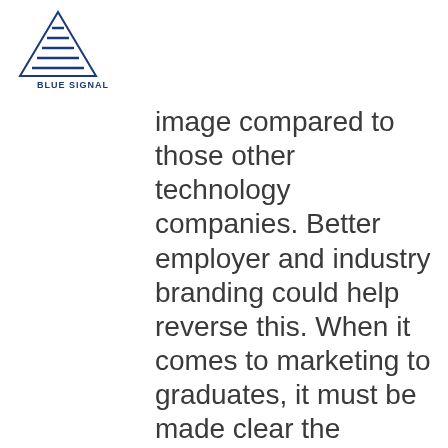[Figure (logo): Blue Signal logo: triangular shape with horizontal lines in blue, with text BLUE SIGNAL below]
image compared to those other technology companies. Better employer and industry branding could help reverse this. When it comes to marketing to graduates, it must be made clear the exciting and direct impact semiconductors have on everyday life -